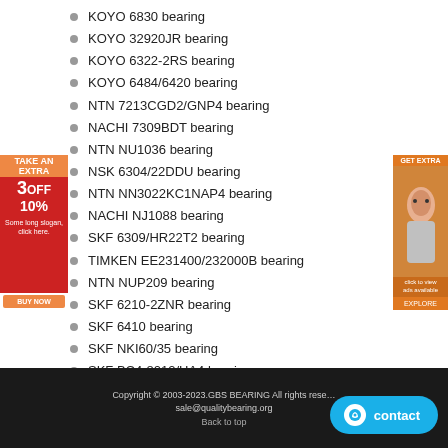KOYO 6830 bearing
KOYO 32920JR bearing
KOYO 6322-2RS bearing
KOYO 6484/6420 bearing
NTN 7213CGD2/GNP4 bearing
NACHI 7309BDT bearing
NTN NU1036 bearing
NSK 6304/22DDU bearing
NTN NN3022KC1NAP4 bearing
NACHI NJ1088 bearing
SKF 6309/HR22T2 bearing
TIMKEN EE231400/232000B bearing
NTN NUP209 bearing
SKF 6210-2ZNR bearing
SKF 6410 bearing
SKF NKI60/35 bearing
SKF BC4-8012/HA4 bearing
Copyright © 2003-2023.GBS BEARING All rights reserved   sale@qualitybearing.org   Back to top